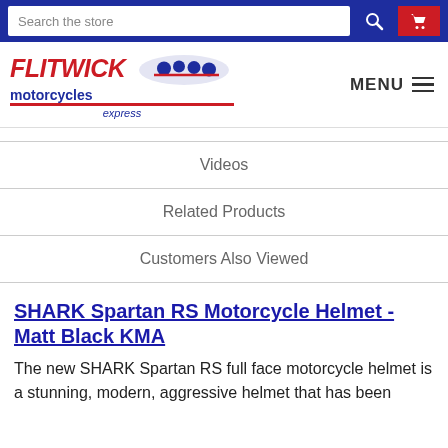Search the store
[Figure (logo): Flitwick Motorcycles Express logo with red FLITWICK text and blue motorcycles illustration]
MENU
Videos
Related Products
Customers Also Viewed
SHARK Spartan RS Motorcycle Helmet - Matt Black KMA
The new SHARK Spartan RS full face motorcycle helmet is a stunning, modern, aggressive helmet that has been